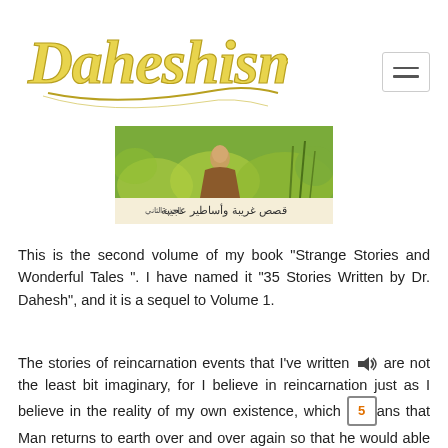[Figure (logo): Daheshism cursive logo in gold/yellow script with decorative underline stroke]
[Figure (illustration): Cover of Arabic book showing a figure in a garden with Arabic text at bottom reading strange stories and wonderful tales]
This is the second volume of my book "Strange Stories and Wonderful Tales ". I have named it "35 Stories Written by Dr. Dahesh", and it is a sequel to Volume 1.
The stories of reincarnation events that I've written are not the least bit imaginary, for I believe in reincarnation just as I believe in the reality of my own existence, which means that Man returns to earth over and over again so that he would able to purify his soul from its sins and rectify his